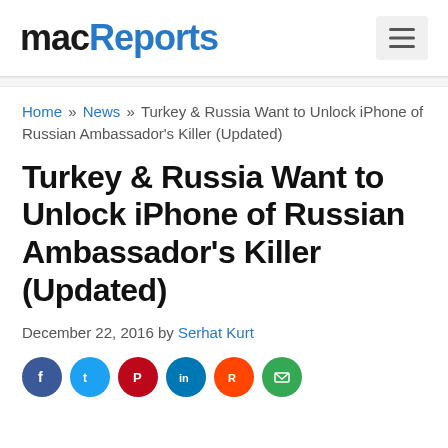macReports
Home » News » Turkey & Russia Want to Unlock iPhone of Russian Ambassador's Killer (Updated)
Turkey & Russia Want to Unlock iPhone of Russian Ambassador's Killer (Updated)
December 22, 2016 by Serhat Kurt
[Figure (infographic): Social media sharing icons: Facebook (blue circle), Twitter (light blue circle), Pinterest (red circle), LinkedIn (blue circle), Reddit (orange-red circle), Email (green circle)]